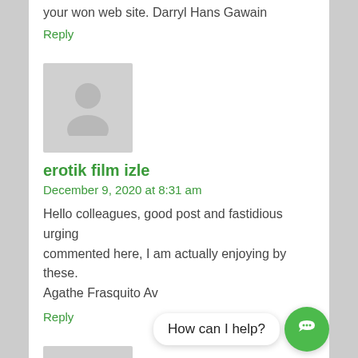your won web site. Darryl Hans Gawain
Reply
[Figure (illustration): Gray avatar placeholder image with silhouette of a person]
erotik film izle
December 9, 2020 at 8:31 am
Hello colleagues, good post and fastidious urging commented here, I am actually enjoying by these. Agathe Frasquito Av
Reply
[Figure (illustration): Gray avatar placeholder image with silhouette of a person]
erotik izle
December 9, 2020 at 5:31 am
I consider something truly interesting about your